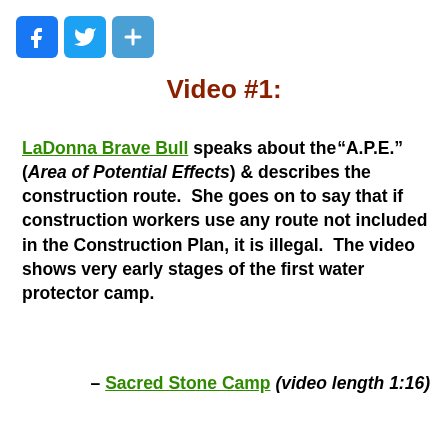[Figure (other): Social media share icons: Facebook (blue f), Twitter (blue bird), and a blue plus/share button]
Video #1:
LaDonna Brave Bull speaks about the "A.P.E." (Area of Potential Effects) & describes the construction route.  She goes on to say that if construction workers use any route not included in the Construction Plan, it is illegal.  The video shows very early stages of the first water protector camp.
– Sacred Stone Camp (video length 1:16)